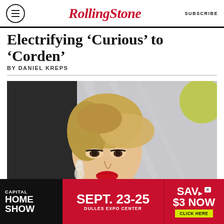RollingStone | SUBSCRIBE
Electrifying 'Curious' to 'Corden'
BY DANIEL KREPS
[Figure (photo): Close-up portrait of a blonde woman in a silver sparkly outfit at what appears to be a red carpet or awards event, looking to the side with red lipstick and an updo hairstyle.]
[Figure (infographic): Advertisement banner: CAPITAL HOME SHOW SEPT. 23-25 DULLES EXPO CENTER SAV $3 NOW CLICK HERE]